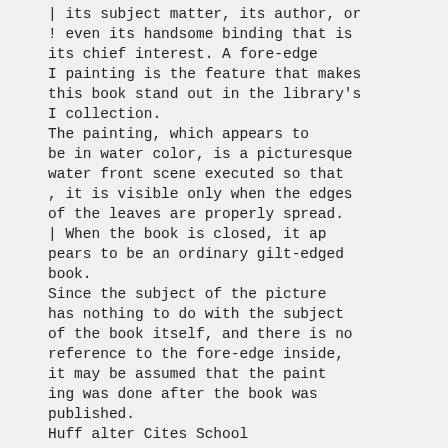| its subject matter, its author, or ! even its handsome binding that is its chief interest. A fore-edge I painting is the feature that makes this book stand out in the library's I collection.
The painting, which appears to be in water color, is a picturesque water front scene executed so that , it is visible only when the edges of the leaves are properly spread.
| When the book is closed, it ap pears to be an ordinary gilt-edged book.
Since the subject of the picture has nothing to do with the subject of the book itself, and there is no reference to the fore-edge inside, it may be assumed that the paint ing was done after the book was published.
Huff alter Cites School Emergency Program
P'-. C. L. Huffaker, of the school